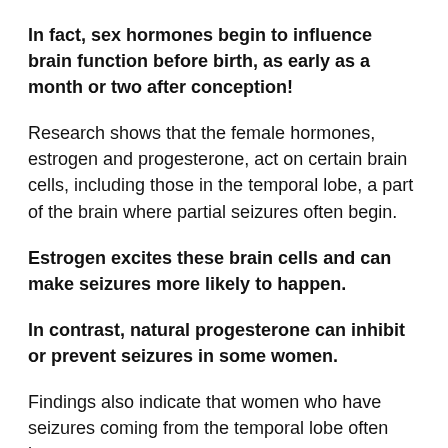In fact, sex hormones begin to influence brain function before birth, as early as a month or two after conception!
Research shows that the female hormones, estrogen and progesterone, act on certain brain cells, including those in the temporal lobe, a part of the brain where partial seizures often begin.
Estrogen excites these brain cells and can make seizures more likely to happen.
In contrast, natural progesterone can inhibit or prevent seizures in some women.
Findings also indicate that women who have seizures coming from the temporal lobe often have more reproductive disorders.